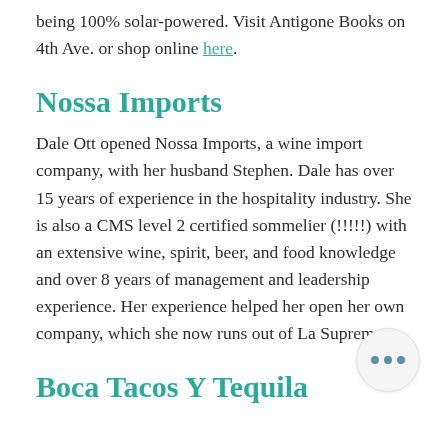being 100% solar-powered. Visit Antigone Books on 4th Ave. or shop online here.
Nossa Imports
Dale Ott opened Nossa Imports, a wine import company, with her husband Stephen. Dale has over 15 years of experience in the hospitality industry. She is also a CMS level 2 certified sommelier (!!!!!) with an extensive wine, spirit, beer, and food knowledge and over 8 years of management and leadership experience. Her experience helped her open her own company, which she now runs out of La Suprema.
Boca Tacos Y Tequila